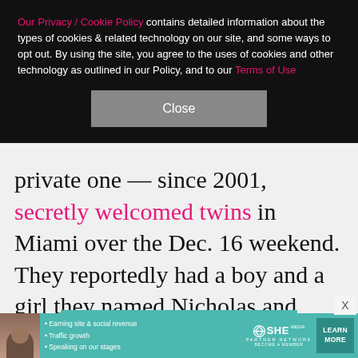Our Privacy / Cookie Policy contains detailed information about the types of cookies & related technology on our site, and some ways to opt out. By using the site, you agree to the uses of cookies and other technology as outlined in our Policy, and to our Terms of Use
Close
private one — since 2001, secretly welcomed twins in Miami over the Dec. 16 weekend. They reportedly had a boy and a girl they named Nicholas and Lucy.
[Figure (advertisement): SHE Media Partner Network advertisement with teal background, logo, BECOME A MEMBER button, and photo of smiling woman with glasses]
[Figure (advertisement): SHE Media Partner Network bottom banner advertisement with bullet points: Earning site & social revenue, Traffic growth, Speaking on our stages, with LEARN MORE button]